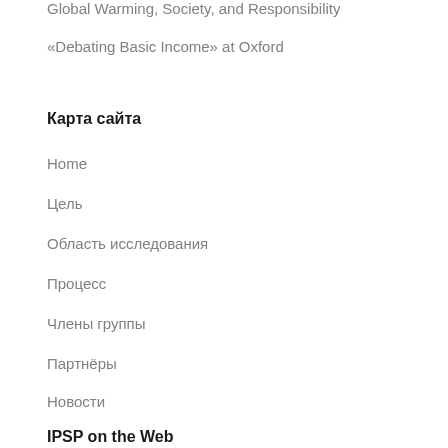Global Warming, Society, and Responsibility
«Debating Basic Income» at Oxford
Карта сайта
Home
Цель
Область исследования
Процесс
Члены группы
Партнёры
Новости
IPSP on the Web